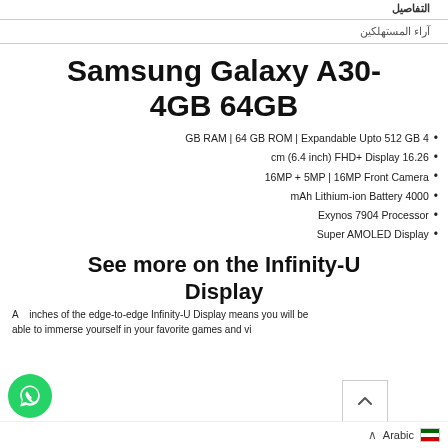التفاصيل
آراء المستهلكين
Samsung Galaxy A30- 4GB 64GB
4 GB RAM | 64 GB ROM | Expandable Upto 512 GB
16.26 cm (6.4 inch) FHD+ Display
16MP + 5MP | 16MP Front Camera
4000 mAh Lithium-ion Battery
Exynos 7904 Processor
Super AMOLED Display
See more on the Infinity-U Display
A inches of the edge-to-edge Infinity-U Display means you will be able to immerse yourself in your favorite games and vi...